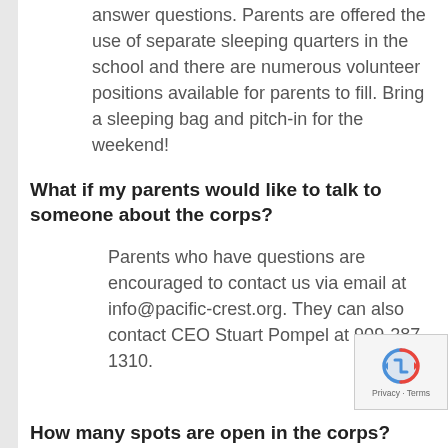answer questions. Parents are offered the use of separate sleeping quarters in the school and there are numerous volunteer positions available for parents to fill. Bring a sleeping bag and pitch-in for the weekend!
What if my parents would like to talk to someone about the corps?
Parents who have questions are encouraged to contact us via email at info@pacific-crest.org. They can also contact CEO Stuart Pompel at 909-287-1310.
How many spots are open in the corps?